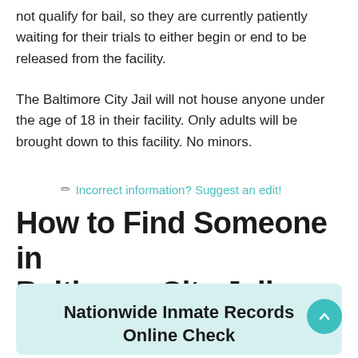not qualify for bail, so they are currently patiently waiting for their trials to either begin or end to be released from the facility.
The Baltimore City Jail will not house anyone under the age of 18 in their facility. Only adults will be brought down to this facility. No minors.
✏ Incorrect information? Suggest an edit!
How to Find Someone in Baltimore City Jail
Nationwide Inmate Records Online Check